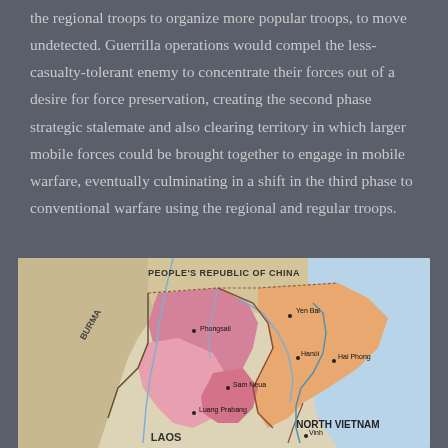the regional troops to organize more popular troops, to move undetected. Guerrilla operations would compel the less-casualty-tolerant enemy to concentrate their forces out of a desire for force preservation, creating the second phase strategic stalemate and also clearing territory in which larger mobile forces could be brought together to engage in mobile warfare, eventually culminating in a shift in the third phase to conventional warfare using the regional and regular troops.
[Figure (map): Map showing northern Vietnam, Laos, Burma, and southern China. Labels include People's Republic of China, North Vietnam, Laos, Burma, and cities: Yen Bai, Hanoi, Hai Phong, Phongsali, Sam Neua, Luang Prabang, Vinh. Regions are shaded in pink/salmon and orange tones.]